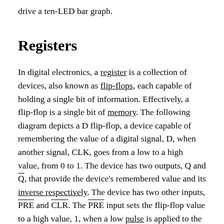drive a ten-LED bar graph.
Registers
In digital electronics, a register is a collection of devices, also known as flip-flops, each capable of holding a single bit of information. Effectively, a flip-flop is a single bit of memory. The following diagram depicts a D flip-flop, a device capable of remembering the value of a digital signal, D, when another signal, CLK, goes from a low to a high value, from 0 to 1. The device has two outputs, Q and Q̄, that provide the device's remembered value and its inverse respectively. The device has two other inputs, PRE and CLR. The PRE input sets the flip-flop value to a high value, 1, when a low pulse is applied to the input. The CLR input resets the flip-flop value to a low value, 0, when a low pulse is applied to the